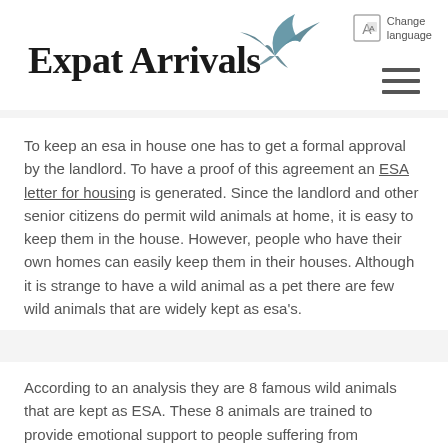Expat Arrivals
To keep an esa in house one has to get a formal approval by the landlord. To have a proof of this agreement an ESA letter for housing is generated. Since the landlord and other senior citizens do permit wild animals at home, it is easy to keep them in the house. However, people who have their own homes can easily keep them in their houses. Although it is strange to have a wild animal as a pet there are few wild animals that are widely kept as esa's.
According to an analysis they are 8 famous wild animals that are kept as ESA. These 8 animals are trained to provide emotional support to people suffering from depression. The majority of these wild